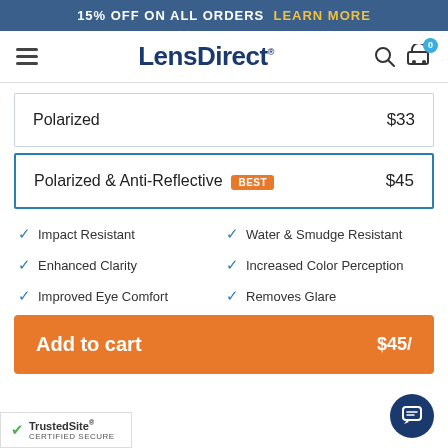15% OFF ON ALL ORDERS  LEARN MORE
[Figure (logo): LensDirect logo with hamburger menu, search icon, and cart icon with badge 0]
| Polarized | $33 |
| Polarized & Anti-Reflective  BEST | $45 |
Impact Resistant
Water & Smudge Resistant
Enhanced Clarity
Increased Color Perception
Improved Eye Comfort
Removes Glare
Add to cart  $45/
[Figure (logo): TrustedSite Certified Secure badge]
[Figure (illustration): Chat button icon]